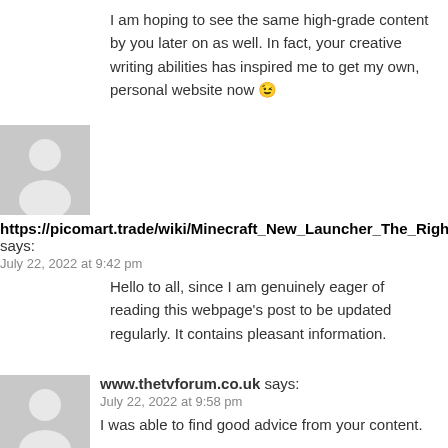I am hoping to see the same high-grade content by you later on as well. In fact, your creative writing abilities has inspired me to get my own, personal website now 😉
[Figure (illustration): Grey avatar placeholder icon (person silhouette)]
https://picomart.trade/wiki/Minecraft_New_Launcher_The_Right_Wa says: July 22, 2022 at 9:42 pm
Hello to all, since I am genuinely eager of reading this webpage's post to be updated regularly. It contains pleasant information.
[Figure (illustration): Grey avatar placeholder icon (person silhouette)]
www.thetvforum.co.uk says: July 22, 2022 at 9:58 pm
I was able to find good advice from your content.